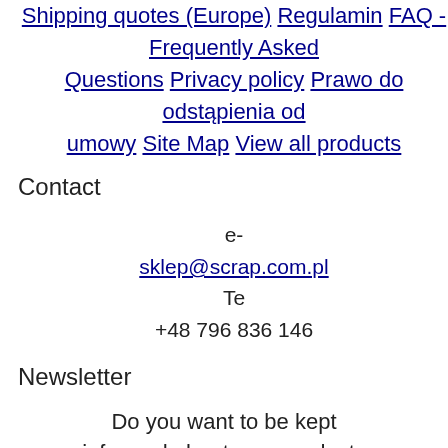Shipping quotes (Europe)
Regulamin
FAQ - Frequently Asked Questions
Privacy policy
Prawo do odstąpienia od umowy
Site Map
View all products
Contact
e-sklep@scrap.com.pl Te +48 796 836 146
Newsletter
Do you want to be kept informed about new products in stores ? Give us your e-mail newsletter to receive